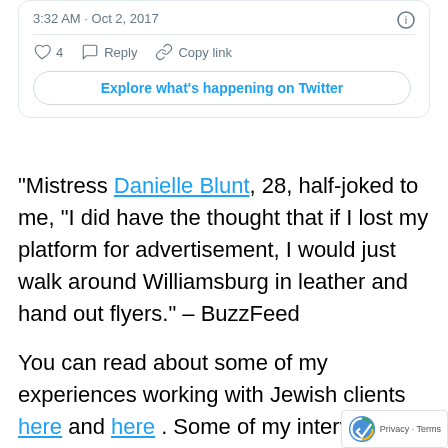3:32 AM · Oct 2, 2017
4  Reply  Copy link
Explore what's happening on Twitter
“Mistress Danielle Blunt, 28, half-joked to me, “I did have the thought that if I lost my platform for advertisement, I would just walk around Williamsburg in leather and hand out flyers.” – BuzzFeed
You can read about some of my experiences working with Jewish clients here and here . Some of my interviews on working with my Jewish and Hasid clients is summarized above!